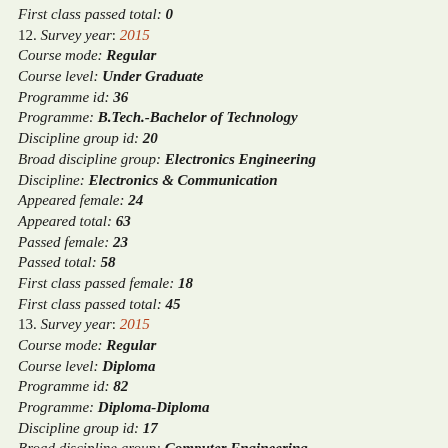First class passed total: 0
12. Survey year: 2015
Course mode: Regular
Course level: Under Graduate
Programme id: 36
Programme: B.Tech.-Bachelor of Technology
Discipline group id: 20
Broad discipline group: Electronics Engineering
Discipline: Electronics & Communication
Appeared female: 24
Appeared total: 63
Passed female: 23
Passed total: 58
First class passed female: 18
First class passed total: 45
13. Survey year: 2015
Course mode: Regular
Course level: Diploma
Programme id: 82
Programme: Diploma-Diploma
Discipline group id: 17
Broad discipline group: Computer Engineering
Discipline: Computer Science
Appeared female: 26
Appeared total: 40
Passed female: 27